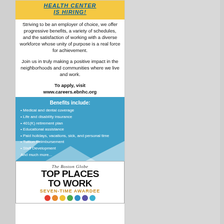HEALTH CENTER IS HIRING!
Striving to be an employer of choice, we offer progressive benefits, a variety of schedules, and the satisfaction of working with a diverse workforce whose unity of purpose is a real force for achievement.
Join us in truly making a positive impact in the neighborhoods and communities where we live and work.
To apply, visit www.careers.ebnhc.org
Benefits include:
Medical and dental coverage
Life and disability insurance
401(K) retirement plan
Educational assistance
Paid holidays, vacations, sick, and personal time
Tuition Reimbursement
Staff Development
And much more...
[Figure (logo): The Boston Globe TOP PLACES TO WORK SEVEN-TIME AWARDEE badge with colored dots]
The Boston Globe TOP PLACES TO WORK SEVEN-TIME AWARDEE